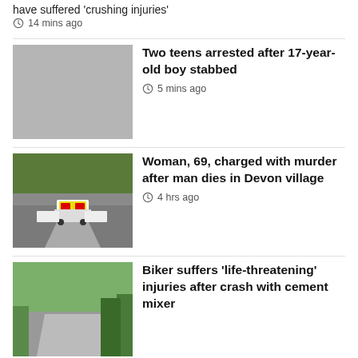have suffered 'crushing injuries'
14 mins ago
Two teens arrested after 17-year-old boy stabbed
5 mins ago
[Figure (photo): Grey placeholder thumbnail]
Woman, 69, charged with murder after man dies in Devon village
4 hrs ago
[Figure (photo): Police vehicles on a rural road]
Biker suffers 'life-threatening' injuries after crash with cement mixer
[Figure (photo): Rural road with trees and hedges]
Stalker set fire to campervan as woman slept inside
[Figure (photo): Burnt campervan with traffic cones]
[Figure (photo): Partial image at bottom of page]